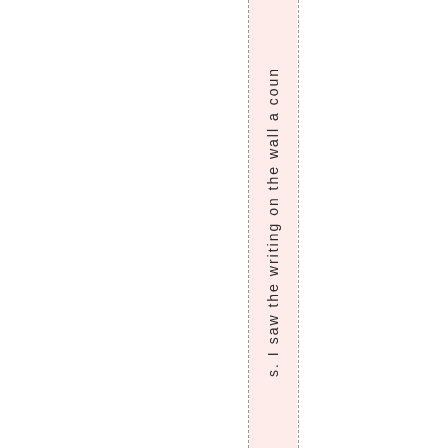s. I saw the writing on the wall a coun